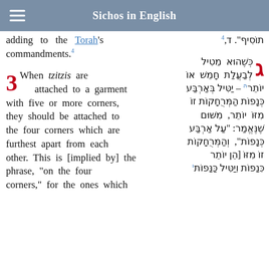Sichos in English
adding to the Torah's commandments.4
תוֹסִיף". ד,4
3 When tzitzis are attached to a garment with five or more corners, they should be attached to the four corners which are furthest apart from each other. This is [implied by] the phrase, "on the four corners," for the ones which
ג כְּשֶׁהוּא מֵטִיל לְבַעֲלַת חָמֵשׁ אוֹ יוֹתֵר – יַטִּיל בְּאַרְבַּע כְּנָפוֹת הַמְּרֻחָקוֹת זוֹ מִזּוֹ יוֹתֵר, מִשּׁוּם שֶׁנֶּאֱמַר: "עַל אַרְבַּע כְּנָפוֹת", וְהַמְּרֻחָקוֹת זוֹ מִזּוֹ [הֵן יוֹתֵר